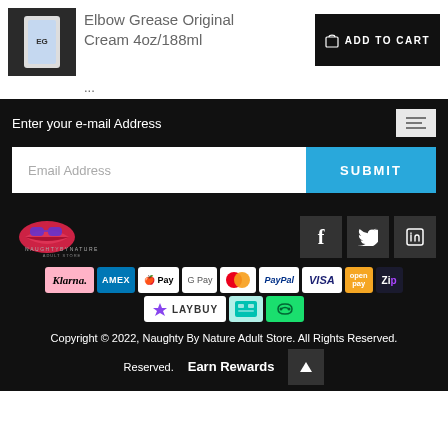Elbow Grease Original Cream 4oz/188ml
...
Enter your e-mail Address
Email Address
SUBMIT
[Figure (logo): NaughtyByNature Adult Store logo with lips graphic]
[Figure (infographic): Social media icons: Facebook, Twitter, LinkedIn]
[Figure (infographic): Payment method badges: Klarna, AMEX, Apple Pay, Google Pay, Mastercard, PayPal, Visa, Open Pay, Zip, Laybuy, Afterpay, Linktree]
Copyright © 2022, Naughty By Nature Adult Store. All Rights Reserved.
Earn Rewards